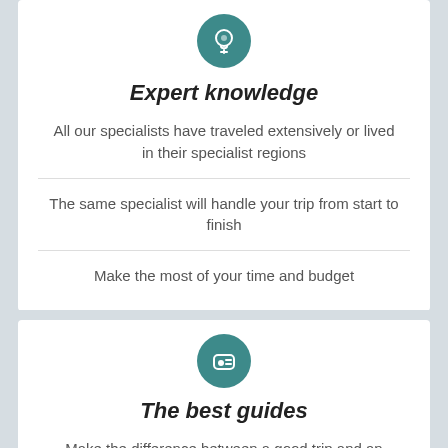[Figure (illustration): Teal circle icon with a lightbulb/brain symbol]
Expert knowledge
All our specialists have traveled extensively or lived in their specialist regions
The same specialist will handle your trip from start to finish
Make the most of your time and budget
[Figure (illustration): Teal circle icon with a reclining seat/guide symbol]
The best guides
Make the difference between a good trip and an
REQUEST A QUOTE
Hand picked by us or our local partners as the best